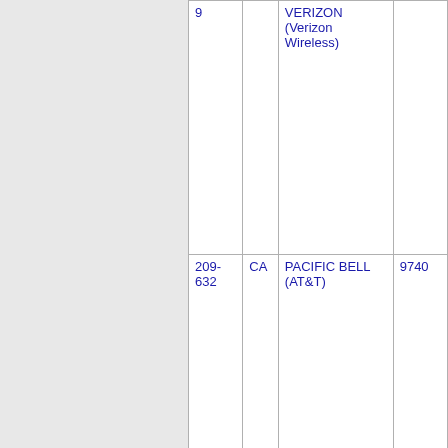| NPA | State | Company | Number |
| --- | --- | --- | --- |
| 9 |  | VERIZON (Verizon Wireless) |  |
| 209-632 | CA | PACIFIC BELL (AT&T) | 9740 |